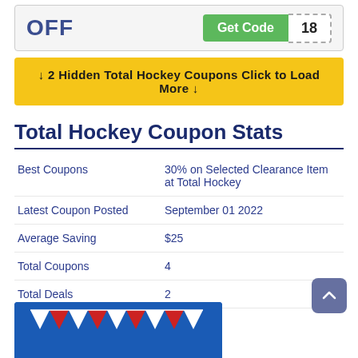OFF | Get Code 18
↓ 2 Hidden Total Hockey Coupons Click to Load More ↓
Total Hockey Coupon Stats
|  |  |
| --- | --- |
| Best Coupons | 30% on Selected Clearance Item at Total Hockey |
| Latest Coupon Posted | September 01 2022 |
| Average Saving | $25 |
| Total Coupons | 4 |
| Total Deals | 2 |
[Figure (photo): Promotional image with blue background and red and white triangular pennant flags]